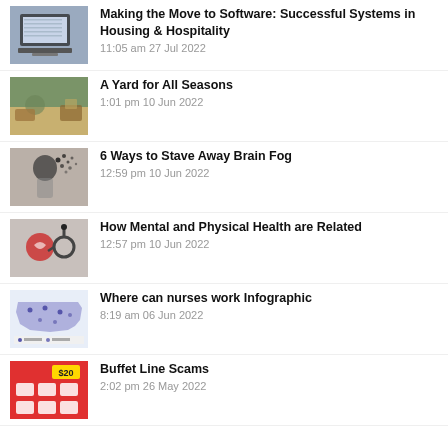Making the Move to Software: Successful Systems in Housing & Hospitality
11:05 am 27 Jul 2022
A Yard for All Seasons
1:01 pm 10 Jun 2022
6 Ways to Stave Away Brain Fog
12:59 pm 10 Jun 2022
How Mental and Physical Health are Related
12:57 pm 10 Jun 2022
Where can nurses work Infographic
8:19 am 06 Jun 2022
Buffet Line Scams
2:02 pm 26 May 2022